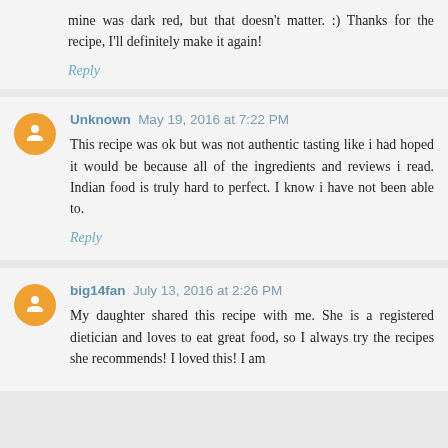mine was dark red, but that doesn't matter. :) Thanks for the recipe, I'll definitely make it again!
Reply
Unknown May 19, 2016 at 7:22 PM
This recipe was ok but was not authentic tasting like i had hoped it would be because all of the ingredients and reviews i read. Indian food is truly hard to perfect. I know i have not been able to.
Reply
big14fan July 13, 2016 at 2:26 PM
My daughter shared this recipe with me. She is a registered dietician and loves to eat great food, so I always try the recipes she recommends! I loved this! I am